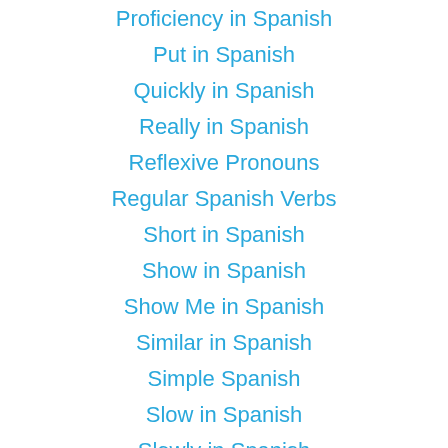Proficiency in Spanish
Put in Spanish
Quickly in Spanish
Really in Spanish
Reflexive Pronouns
Regular Spanish Verbs
Short in Spanish
Show in Spanish
Show Me in Spanish
Similar in Spanish
Simple Spanish
Slow in Spanish
Slowly in Spanish